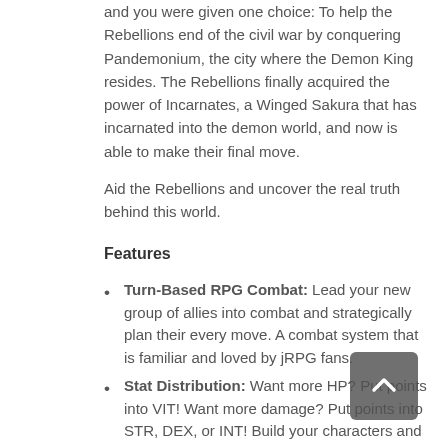and you were given one choice: To help the Rebellions end of the civil war by conquering Pandemonium, the city where the Demon King resides. The Rebellions finally acquired the power of Incarnates, a Winged Sakura that has incarnated into the demon world, and now is able to make their final move.
Aid the Rebellions and uncover the real truth behind this world.
Features
Turn-Based RPG Combat: Lead your new group of allies into combat and strategically plan their every move. A combat system that is familiar and loved by jRPG fans.
Stat Distribution: Want more HP? Put points into VIT! Want more damage? Put points into STR, DEX, or INT! Build your characters and adjust stats any time for any situation. Don't be afraid to experiment because every stat point can be redistributed!
Skill Distribution: Learn new skills and decide how you'd like to make your characters stronger. Don't be afraid to experiment because every skill point can be redistributed!
Dungeon Crawling: A slightly different approach to first person dungeon crawling RPG games. You'll be moving...